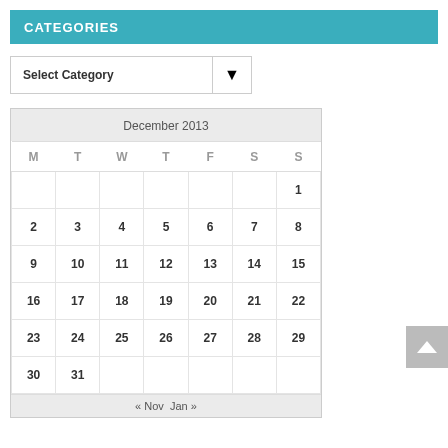CATEGORIES
[Figure (screenshot): Dropdown select box with label 'Select Category' and a down-arrow button]
| M | T | W | T | F | S | S |
| --- | --- | --- | --- | --- | --- | --- |
|  |  |  |  |  |  | 1 |
| 2 | 3 | 4 | 5 | 6 | 7 | 8 |
| 9 | 10 | 11 | 12 | 13 | 14 | 15 |
| 16 | 17 | 18 | 19 | 20 | 21 | 22 |
| 23 | 24 | 25 | 26 | 27 | 28 | 29 |
| 30 | 31 |  |  |  |  |  |